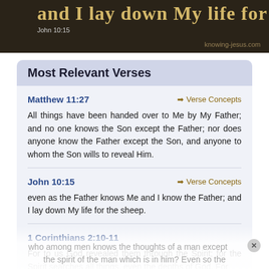[Figure (illustration): Dark banner image with golden text partially visible reading 'and I lay down My life for the sheep', with reference 'John 10:15' and watermark 'knowing-jesus.com']
Most Relevant Verses
Matthew 11:27
All things have been handed over to Me by My Father; and no one knows the Son except the Father; nor does anyone know the Father except the Son, and anyone to whom the Son wills to reveal Him.
John 10:15
even as the Father knows Me and I know the Father; and I lay down My life for the sheep.
1 Corinthians 2:10-11
For to us God revealed them through the Spirit; for the Spirit searches all things, even the depths of God. For who among men knows the thoughts of a man except the spirit of the man which is in him? Even so the